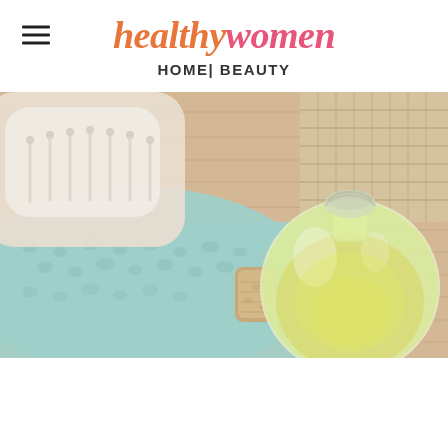healthywomen | HOME| BEAUTY
[Figure (photo): A glass bottle with yellow oil, cork stopper beside it, resting on a light wood surface with a teal/mint textured towel and a white hair brush in the background, plus a wicker/rattan basket.]